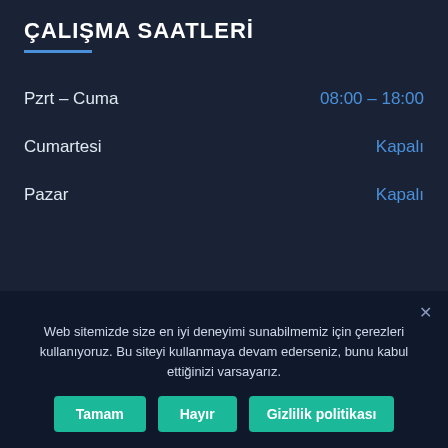ÇALIŞMA SAATLERİ
Pzrt – Cuma	08:00 – 18:00
Cumartesi	Kapalı
Pazar	Kapalı
Web sitemizde size en iyi deneyimi sunabilmemiz için çerezleri kullanıyoruz. Bu siteyi kullanmaya devam ederseniz, bunu kabul ettiğinizi varsayarız.